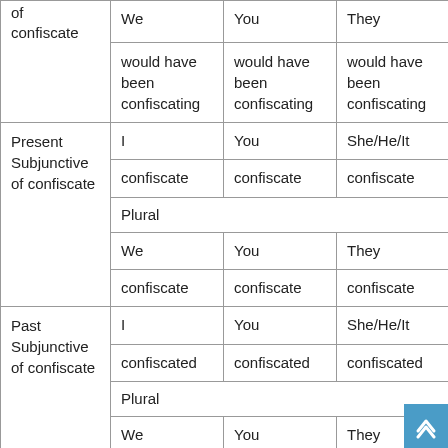|  | I/We | You | She/He/It/They |
| --- | --- | --- | --- |
| (cont.) of confiscate | We | You | They |
|  | would have been confiscating | would have been confiscating | would have been confiscating |
| Present Subjunctive of confiscate | I | You | She/He/It |
|  | confiscate | confiscate | confiscate |
|  | Plural |  |  |
|  | We | You | They |
|  | confiscate | confiscate | confiscate |
| Past Subjunctive of confiscate | I | You | She/He/It |
|  | confiscated | confiscated | confiscated |
|  | Plural |  |  |
|  | We | You | They |